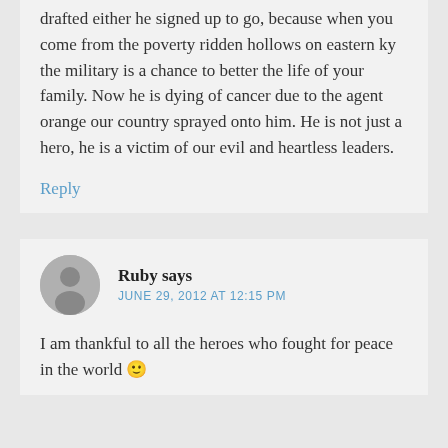drafted either he signed up to go, because when you come from the poverty ridden hollows on eastern ky the military is a chance to better the life of your family. Now he is dying of cancer due to the agent orange our country sprayed onto him. He is not just a hero, he is a victim of our evil and heartless leaders.
Reply
Ruby says
JUNE 29, 2012 AT 12:15 PM
I am thankful to all the heroes who fought for peace in the world 🙂